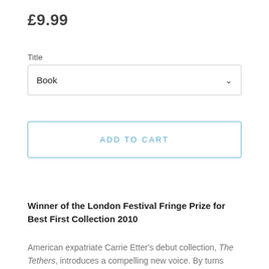£9.99
Title
Book
ADD TO CART
Winner of the London Festival Fringe Prize for Best First Collection 2010
American expatriate Carrie Etter's debut collection, The Tethers, introduces a compelling new voice. By turns